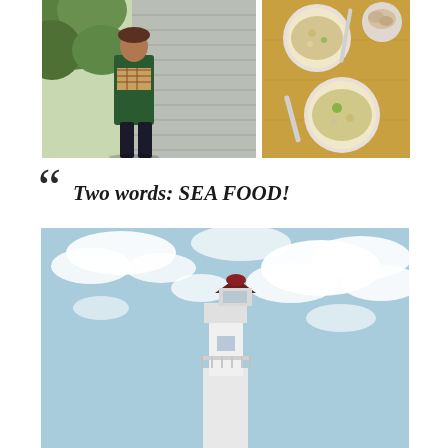[Figure (photo): Woman standing outdoors wearing a green jacket and plaid Burberry scarf, with green trees and wooden building siding in background]
[Figure (photo): Overhead view of bowls of seafood soup/chowder on a wooden table with utensils and biscuits]
“Two words: SEA FOOD!
[Figure (photo): Low angle view looking up at a white lighthouse tower against a partly cloudy blue sky]